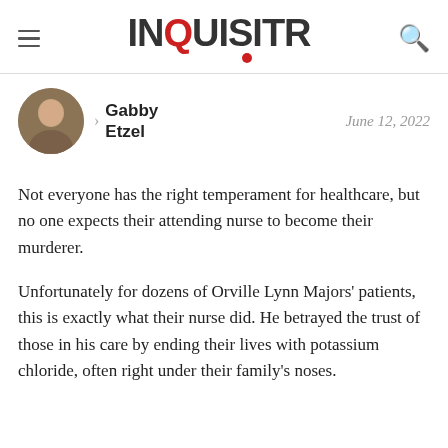INQUISITR
Gabby Etzel · June 12, 2022
Not everyone has the right temperament for healthcare, but no one expects their attending nurse to become their murderer.
Unfortunately for dozens of Orville Lynn Majors' patients, this is exactly what their nurse did. He betrayed the trust of those in his care by ending their lives with potassium chloride, often right under their family's noses.